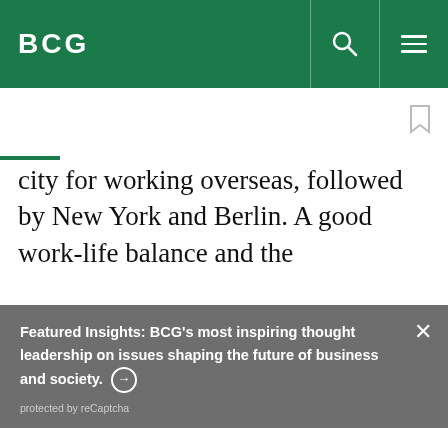BCG
city for working overseas, followed by New York and Berlin. A good work-life balance and the
Featured Insights: BCG's most inspiring thought leadership on issues shaping the future of business and society. ⊙
protected by reCaptcha
By using this site, you agree with our use of cookies.
I consent to cookies
Want to know more?
Read our Cookie Policy